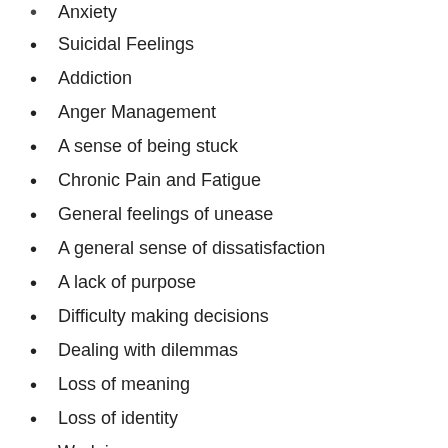Anxiety
Suicidal Feelings
Addiction
Anger Management
A sense of being stuck
Chronic Pain and Fatigue
General feelings of unease
A general sense of dissatisfaction
A lack of purpose
Difficulty making decisions
Dealing with dilemmas
Loss of meaning
Loss of identity
Work issues
Spiritual crisis
Existential crisis
Issues around self-worth and self-esteem
Issues around Image